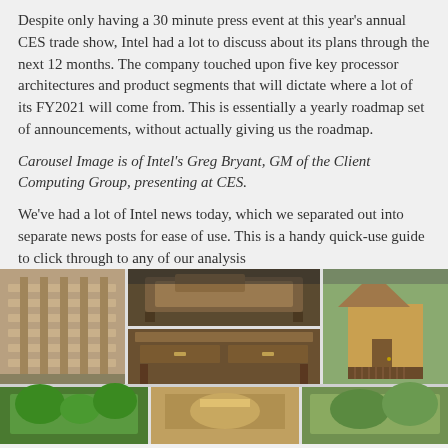Despite only having a 30 minute press event at this year's annual CES trade show, Intel had a lot to discuss about its plans through the next 12 months. The company touched upon five key processor architectures and product segments that will dictate where a lot of its FY2021 will come from. This is essentially a yearly roadmap set of announcements, without actually giving us the roadmap.
Carousel Image is of Intel's Greg Bryant, GM of the Client Computing Group, presenting at CES.
We've had a lot of Intel news today, which we separated out into separate news posts for ease of use. This is a handy quick-use guide to click through to any of our analysis
Sponsored Links
[Figure (photo): Three-panel sponsored image grid showing wooden furniture and outdoor structures: left panel shows wooden frame construction, top-center shows a wooden coffee table with lift top, bottom-center shows a wooden console table with drawers, right panel shows a wooden shed/outhouse with firewood. A partial bottom row of images is also visible.]